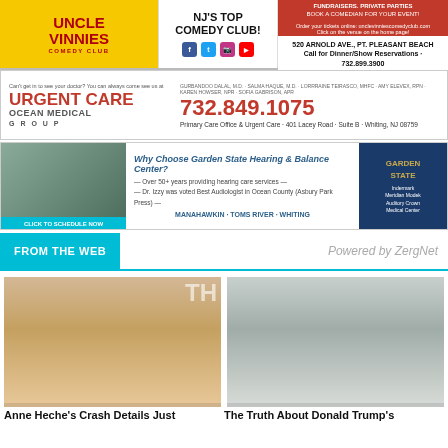[Figure (photo): Uncle Vinnies Comedy Club advertisement banner - yellow background with red logo, NJ's Top Comedy Club text, social media icons, and contact information for 520 Arnold Ave., Pt. Pleasant Beach]
[Figure (photo): Urgent Care Ocean Medical Group advertisement - red text with phone number 732.849.1075 and address 401 Lacey Road, Suite B, Whiting, NJ 08759]
[Figure (photo): Garden State Hearing and Balance Center advertisement - building photo on left, blue logo on right, with locations in Manahawkin, Toms River, Whiting]
FROM THE WEB
Powered by ZergNet
[Figure (photo): Photo of Anne Heche - blonde woman headshot]
[Figure (photo): Photo of a young boy - Donald Trump's son Barron]
Anne Heche's Crash Details Just
The Truth About Donald Trump's